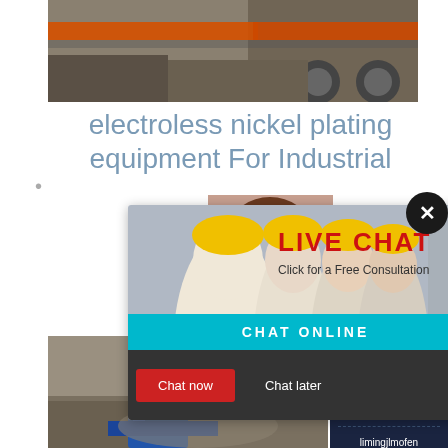[Figure (photo): Industrial machinery / heavy equipment with orange striped bars and large wheels on a construction site]
electroless nickel plating equipment For Industrial
About electroless nickel plating equipment with du... automobile...
[Figure (screenshot): Live chat popup with construction workers in yellow helmets, red LIVE CHAT text, Click for a Free Consultation, Chat now and Chat later buttons, and CHAT ONLINE button]
[Figure (photo): Customer service representative woman with headset]
[Figure (infographic): Dark blue sidebar with Quotation button, Enquiry text, and limingjlmofen@sina.com email]
[Figure (photo): Bottom construction/mining site image with blue machinery]